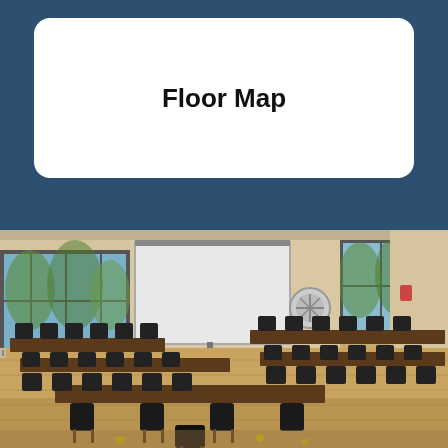Floor Map
[Figure (photo): Interior photograph of a classroom/meeting room with rows of long tables and black chairs arranged in a classroom style. A white projection screen is visible at the front left, with large windows letting in natural light. The room has wood laminate flooring, beige/tan walls, and a fan mounted near the windows. A fire alarm is visible on the right wall.]